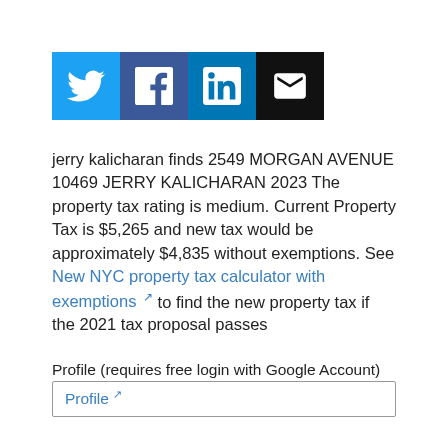[Figure (infographic): Social sharing buttons: Twitter (blue bird icon), Facebook (blue f icon), LinkedIn (blue in icon), Email (black envelope icon)]
jerry kalicharan finds 2549 MORGAN AVENUE 10469 JERRY KALICHARAN 2023 The property tax rating is medium. Current Property Tax is $5,265 and new tax would be approximately $4,835 without exemptions. See New NYC property tax calculator with exemptions [external link] to find the new property tax if the 2021 tax proposal passes
Profile (requires free login with Google Account)
Profile [external link]